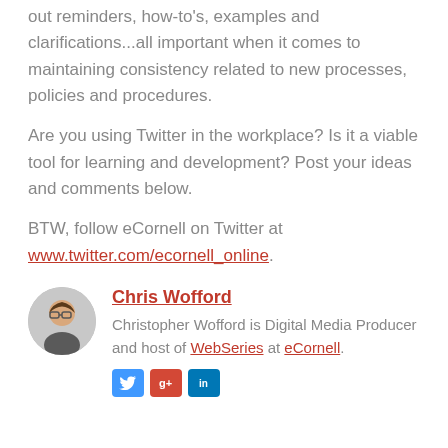out reminders, how-to's, examples and clarifications...all important when it comes to maintaining consistency related to new processes, policies and procedures.
Are you using Twitter in the workplace? Is it a viable tool for learning and development? Post your ideas and comments below.
BTW, follow eCornell on Twitter at www.twitter.com/ecornell_online.
Chris Wofford
Christopher Wofford is Digital Media Producer and host of WebSeries at eCornell.